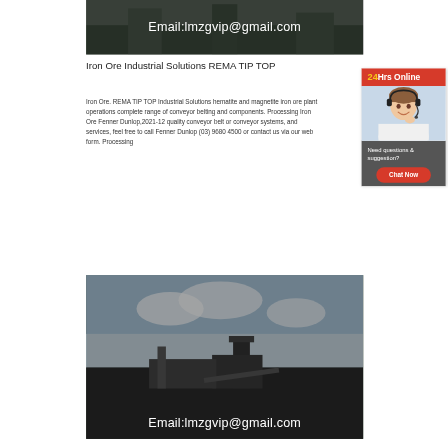[Figure (photo): Top banner image of iron ore industrial facility with dark overlay. White text overlay reads 'Email:lmzgvip@gmail.com']
Iron Ore Industrial Solutions REMA TIP TOP
Iron Ore. REMA TIP TOP Industrial Solutions hematite and magnetite iron ore plant operations complete range of conveyor belting and components. Processing Iron Ore Fenner Dunlop,2021-12 quality conveyor belt or conveyor systems, and services, feel free to call Fenner Dunlop (03) 9680 4500 or contact us via our web form. Processing
[Figure (infographic): 24Hrs Online chat widget showing a customer service representative with headset, red header reading '24Hrs Online', gray footer reading 'Need questions & suggestion?' with a red 'Chat Now' button]
[Figure (photo): Bottom image of iron ore processing facility with heavy machinery on dark ground under cloudy sky. White text overlay reads 'Email:lmzgvip@gmail.com']